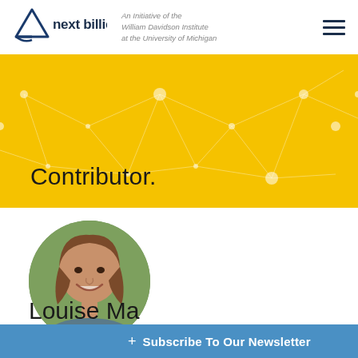next billion — An Initiative of the William Davidson Institute at the University of Michigan
Contributor.
[Figure (photo): Circular cropped headshot photo of Louise Ma, a woman with straight brown hair, smiling, with a blurred green outdoor background]
Louise Ma
+ Subscribe To Our Newsletter